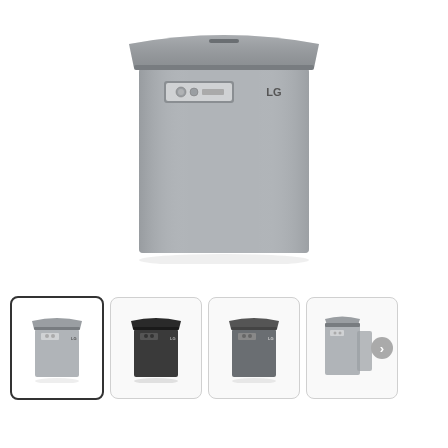[Figure (photo): LG chest freezer in silver/stainless steel color, front view with lid closed, shown on white background. Control panel visible on top front with LG logo.]
[Figure (photo): Thumbnail 1 (selected): LG chest freezer silver, front-angled view, matches main image.]
[Figure (photo): Thumbnail 2: LG chest freezer in dark/black color, front view.]
[Figure (photo): Thumbnail 3: LG chest freezer in silver/dark tone, slightly angled front view.]
[Figure (photo): Thumbnail 4: LG chest freezer, partial angled/side view in silver, with navigation arrow.]